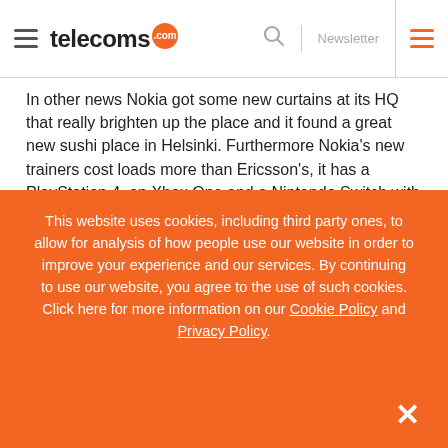telecoms.com — Newsletter
In other news Nokia got some new curtains at its HQ that really brighten up the place and it found a great new sushi place in Helsinki. Furthermore Nokia's new trainers cost loads more than Ericsson's, it has a PlayStation 4, an Xbox One and a Nintendo Switch with loads of games and steering wheels and stuff, and its dad could totally batter Ericsson's dad in a fight.
This website uses cookies, including third party ones, to allow for analysis of how people use our website in order to improve your experience and our services. By continuing to use our website, you agree to the use of such cookies. Click here for more information on our Cookie Policy and Privacy Policy.